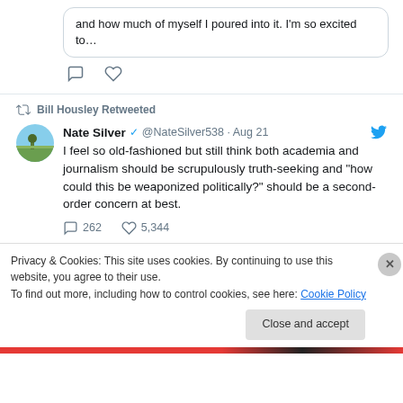and how much of myself I poured into it. I'm so excited to…
Bill Housley Retweeted
Nate Silver @NateSilver538 · Aug 21
I feel so old-fashioned but still think both academia and journalism should be scrupulously truth-seeking and "how could this be weaponized politically?" should be a second-order concern at best.
262  5,344
Privacy & Cookies: This site uses cookies. By continuing to use this website, you agree to their use.
To find out more, including how to control cookies, see here: Cookie Policy
Close and accept